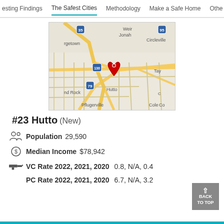esting Findings  The Safest Cities  Methodology  Make a Safe Home  Othe
[Figure (map): Google Maps screenshot showing Hutto, TX area with a red location pin on Hutto. Surrounding areas include Georgetown, Jonah, Circleville, Weir, Round Rock, Pflugerville, Cole, Taylor visible. Roads 35, 95, 130, 79 labeled.]
#23 Hutto (New)
Population 29,590
Median Income $78,942
VC Rate 2022, 2021, 2020 0.8, N/A, 0.4
PC Rate 2022, 2021, 2020 6.7, N/A, 3.2